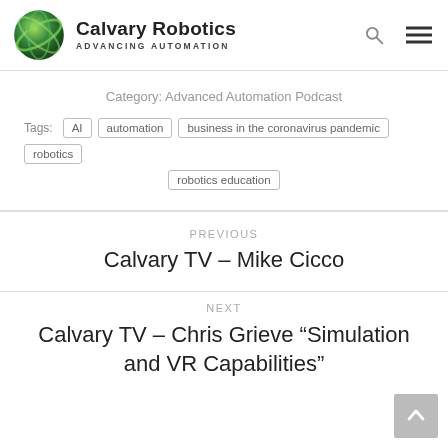Calvary Robotics - ADVANCING AUTOMATION
Category: Advanced Automation Podcast
Tags: AI | automation | business in the coronavirus pandemic | robotics | robotics education
PREVIOUS
Calvary TV – Mike Cicco
NEXT
Calvary TV – Chris Grieve "Simulation and VR Capabilities"